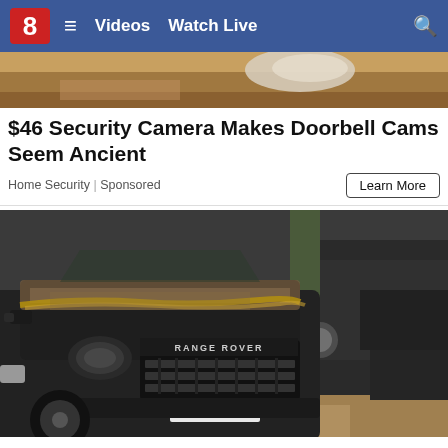8  ≡  Videos  Watch Live  🔍
[Figure (photo): Partial top image showing what appears to be a security camera or similar device against a sandy/rocky background]
$46 Security Camera Makes Doorbell Cams Seem Ancient
Home Security | Sponsored
Learn More
[Figure (photo): A dirty, dust-covered black Range Rover Evoque SUV parked next to another dark SUV, viewed from the front at close range]